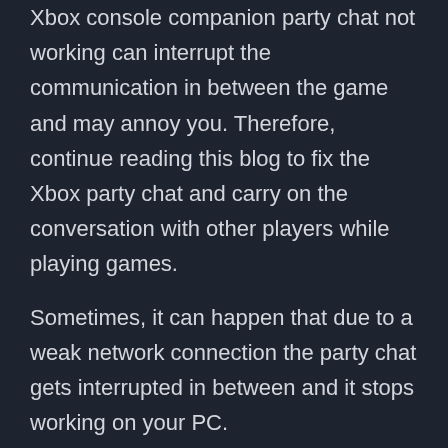Xbox console companion party chat not working can interrupt the communication in between the game and may annoy you. Therefore, continue reading this blog to fix the Xbox party chat and carry on the conversation with other players while playing games.
Sometimes, it can happen that due to a weak network connection the party chat gets interrupted in between and it stops working on your PC.
You can run a network connection test on Xbox to check whether it is connected to Wi-Fi or not. If your Xbox console is connected with Wi-Fi and still you encounter Windows 10 Xbox app party chat not working issue then try the other solutions. Adapter is a Microsoft device for P2P connection that